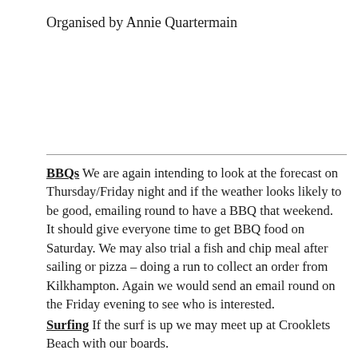Organised by Annie Quartermain
BBQs We are again intending to look at the forecast on Thursday/Friday night and if the weather looks likely to be good, emailing round to have a BBQ that weekend. It should give everyone time to get BBQ food on Saturday. We may also trial a fish and chip meal after sailing or pizza – doing a run to collect an order from Kilkhampton. Again we would send an email round on the Friday evening to see who is interested.
Surfing If the surf is up we may meet up at Crooklets Beach with our boards.